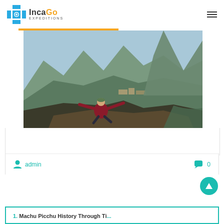IncaGo Expeditions
[Figure (photo): Person sitting on a rocky cliff edge with arms outstretched, overlooking Machu Picchu ruins and dramatic mountain valleys in Peru.]
admin   0
Machu Picchu History Through Ti...